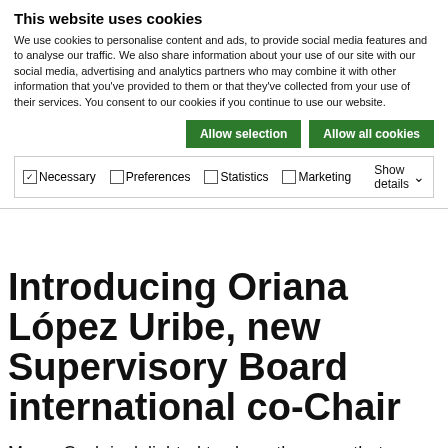This website uses cookies
We use cookies to personalise content and ads, to provide social media features and to analyse our traffic. We also share information about your use of our site with our social media, advertising and analytics partners who may combine it with other information that you've provided to them or that they've collected from your use of their services. You consent to our cookies if you continue to use our website.
Allow selection | Allow all cookies
✓ Necessary  ☐ Preferences  ☐ Statistics  ☐ Marketing  Show details ∨
Introducing Oriana López Uribe, new Supervisory Board international co-Chair
Mama Cash is delighted to share the news that Oriana López Uribe has enthusiastically taken up her new role as international co-Chair of our